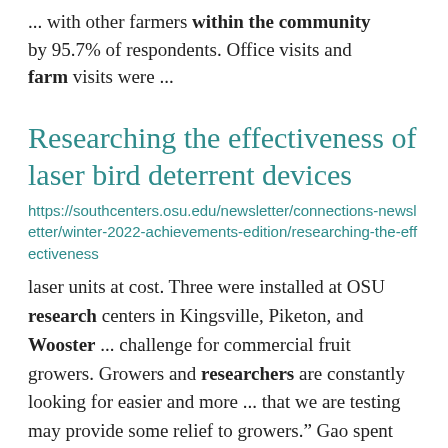... with other farmers within the community by 95.7% of respondents. Office visits and farm visits were ...
Researching the effectiveness of laser bird deterrent devices
https://southcenters.osu.edu/newsletter/connections-newsletter/winter-2022-achievements-edition/researching-the-effectiveness
laser units at cost. Three were installed at OSU research centers in Kingsville, Piketon, and Wooster ... challenge for commercial fruit growers. Growers and researchers are constantly looking for easier and more ... that we are testing may provide some relief to growers." Gao spent much of 2021